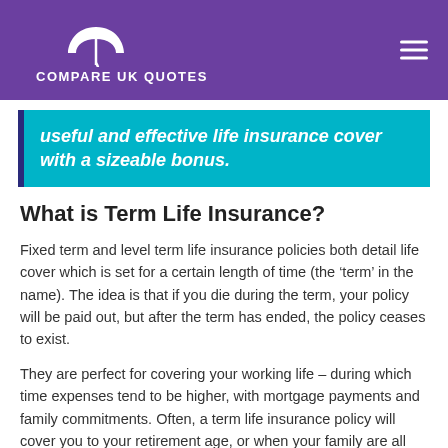COMPARE UK QUOTES
useful and effective life insurance cover with a sizeable bonus.
What is Term Life Insurance?
Fixed term and level term life insurance policies both detail life cover which is set for a certain length of time (the ‘term’ in the name). The idea is that if you die during the term, your policy will be paid out, but after the term has ended, the policy ceases to exist.
They are perfect for covering your working life – during which time expenses tend to be higher, with mortgage payments and family commitments. Often, a term life insurance policy will cover you to your retirement age, or when your family are all grown and flown from the nest.